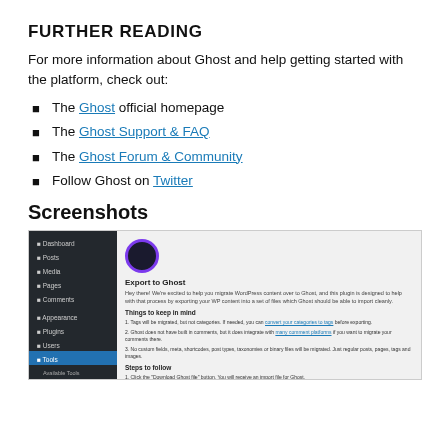FURTHER READING
For more information about Ghost and help getting started with the platform, check out:
The Ghost official homepage
The Ghost Support & FAQ
The Ghost Forum & Community
Follow Ghost on Twitter
Screenshots
[Figure (screenshot): Screenshot of WordPress admin dashboard showing the 'Export to Ghost' plugin page with sidebar navigation and plugin description about migrating WordPress content to Ghost.]